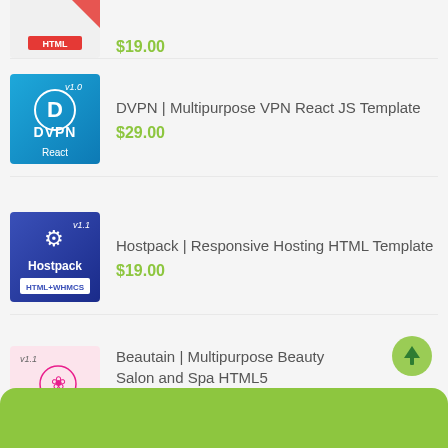[Figure (screenshot): Partial product thumbnail - HTML template with red diagonal design]
$19.00
[Figure (logo): DVPN blue thumbnail with shield/circle logo, v1.0 label, React badge]
DVPN | Multipurpose VPN React JS Template
$29.00
[Figure (logo): Hostpack blue/purple thumbnail with icon, v1.1, HTML+WHMCS badge]
Hostpack | Responsive Hosting HTML Template
$19.00
[Figure (logo): Beautain pink thumbnail with beauty salon logo, v1.1, HTML badge]
Beautain | Multipurpose Beauty Salon and Spa HTML5 Template
$19.00